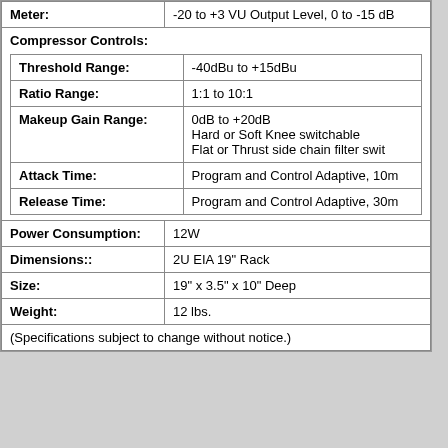| Meter: | -20 to +3 VU Output Level, 0 to -15 dB |
| Compressor Controls: |  |
| Threshold Range: | -40dBu to +15dBu |
| Ratio Range: | 1:1 to 10:1 |
| Makeup Gain Range: | 0dB to +20dB
Hard or Soft Knee switchable
Flat or Thrust side chain filter swit... |
| Attack Time: | Program and Control Adaptive, 10m... |
| Release Time: | Program and Control Adaptive, 30m... |
| Power Consumption: | 12W |
| Dimensions:: | 2U EIA 19" Rack |
| Size: | 19" x 3.5" x 10" Deep |
| Weight: | 12 lbs. |
| (Specifications subject to change without notice.) |  |